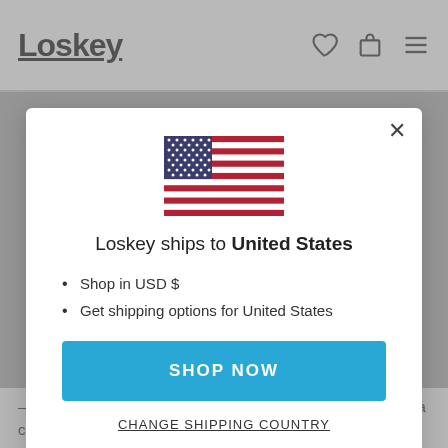Loskey
[Figure (illustration): US flag SVG]
Loskey ships to United States
Shop in USD $
Get shipping options for United States
SHOP NOW
CHANGE SHIPPING COUNTRY
– 15 years before Rana Plaza – the initiative was started by a coalition of unions and NGOs to codify the rights of workers